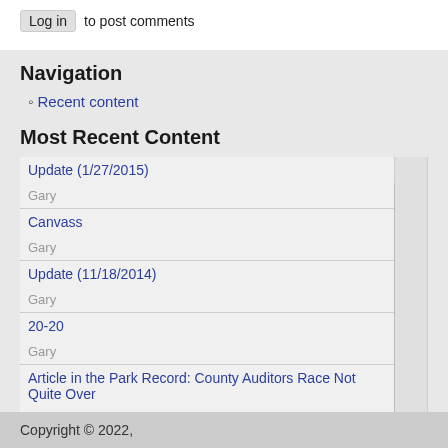Log in to post comments
Navigation
Recent content
Most Recent Content
| Update (1/27/2015) | Gary |
| Canvass | Gary |
| Update (11/18/2014) | Gary |
| 20-20 | Gary |
| Article in the Park Record: County Auditors Race Not Quite Over | Gary |
Powered by Drupal
Copyright © 2022,